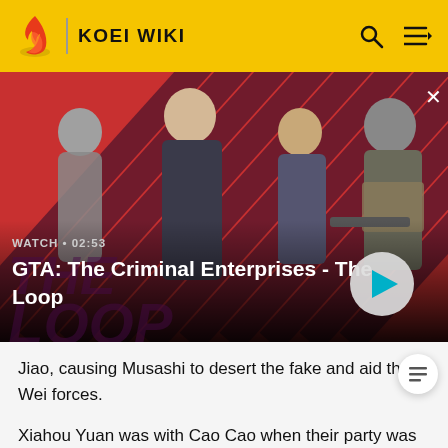KOEI WIKI
[Figure (screenshot): GTA: The Criminal Enterprises - The Loop promotional video thumbnail showing four characters on a red diagonal striped background. WATCH • 02:53 label shown with play button.]
GTA: The Criminal Enterprises - The Loop
Jiao, causing Musashi to desert the fake and aid the Wei forces.
Xiahou Yuan was with Cao Cao when their party was sent to the new world in Warriors Orochi 4. Caught within a battle between Ares and Lu Bu at Nosonhine, the...